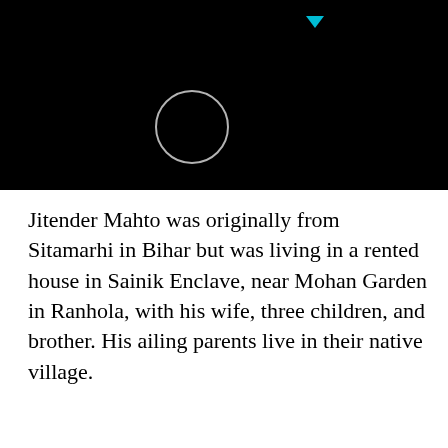[Figure (screenshot): Black background area with a white circle outline and a small cyan triangle at top center]
Jitender Mahto was originally from Sitamarhi in Bihar but was living in a rented house in Sainik Enclave, near Mohan Garden in Ranhola, with his wife, three children, and brother. His ailing parents live in their native village.